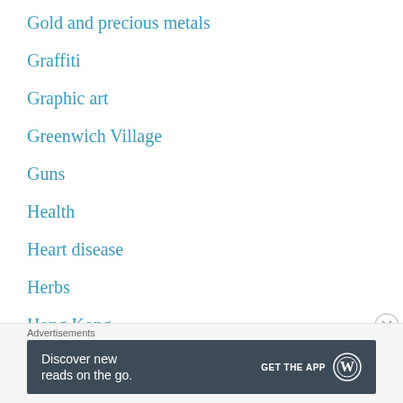Gold and precious metals
Graffiti
Graphic art
Greenwich Village
Guns
Health
Heart disease
Herbs
Hong Kong
Humor
Idealism
Advertisements
[Figure (other): WordPress app advertisement banner: 'Discover new reads on the go.' with GET THE APP button and WordPress logo]